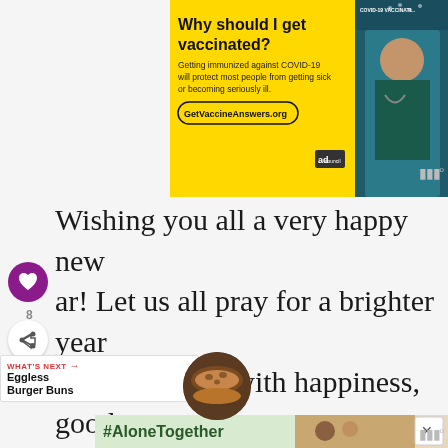[Figure (screenshot): Yellow COVID-19 vaccination advertisement banner. Text reads: 'Why should I get vaccinated? Getting immunized against COVID-19 will protect most people from getting sick or becoming seriously ill. GetVaccineAnswers.org' with Ad Council logo. Right side shows photo of man with stethoscope in teal/dark background with COVID-19 VACCINATION text.]
Wishing you all a very happy new year! Let us all pray for a brighter year ahead, one filled with happiness, good health and prosperity. And what better to usher in the new year than with cake, eh?
[Figure (screenshot): #AloneTogether advertisement banner with light green background showing text '#AloneTogether' and photo of man and woman waving, with X close button.]